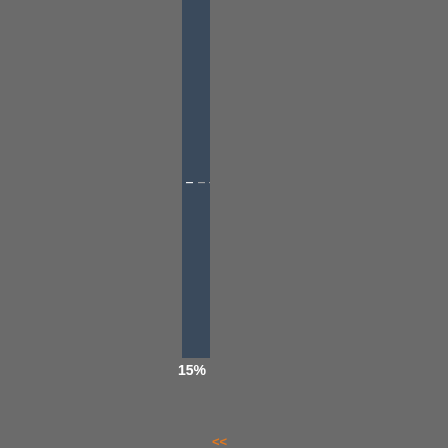[Figure (screenshot): Vertical dark blue bar with orange and white text running vertically, partially cropped at top]
15%
<< Comment #23 @ 16:01 CST, 9 February 2012 >>
[Figure (screenshot): Second vertical dark blue bar with orange, green, white, and blue text running vertically]